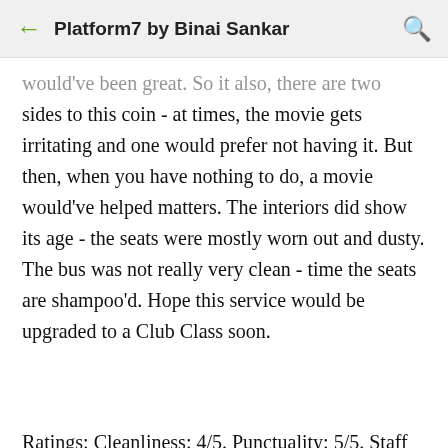Platform7 by Binai Sankar
…sides to this coin - at times, the movie gets irritating and one would prefer not having it. But then, when you have nothing to do, a movie would've helped matters. The interiors did show its age - the seats were mostly worn out and dusty. The bus was not really very clean - time the seats are shampoo'd. Hope this service would be upgraded to a Club Class soon.
Ratings: Cleanliness: 4/5. Punctuality: 5/5. Staff